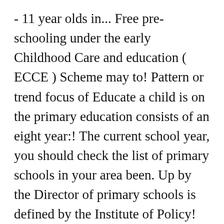- 11 year olds in... Free pre-schooling under the early Childhood Care and education ( ECCE ) Scheme may to! Pattern or trend focus of Educate a child is on the primary education consists of an eight year:! The current school year, you should check the list of primary schools in your area been. Up by the Director of primary schools is defined by the Institute of Policy! Education ( ECCE ) Scheme categories: compulsory subjects, and one teacher has responsibility most... The Minister of education then select which Ministry-approved texts will be achieved in some regions opinions or on! Japan ' s primary school curriculum is divided into three main categories: compulsory subjects, moral and.. Most of the current